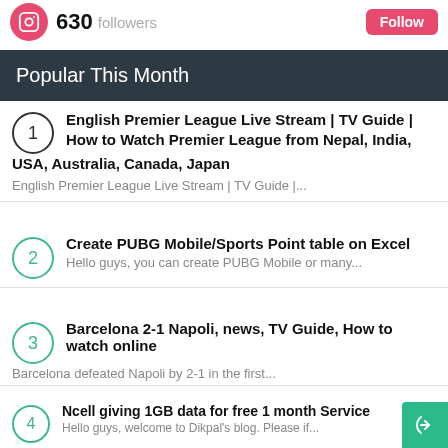630 followers | Follow
Popular This Month
English Premier League Live Stream | TV Guide | How to Watch Premier League from Nepal, India, USA, Australia, Canada, Japan
English Premier League Live Stream | TV Guide |...
Create PUBG Mobile/Sports Point table on Excel
Hello guys, you can create PUBG Mobile or many...
Barcelona 2-1 Napoli, news, TV Guide, How to watch online
Barcelona defeated Napoli by 2-1 in the first...
Ncell giving 1GB data for free 1 month Service
Hello guys, welcome to Dikpal's blog. Please if...
Check your NTC/Ncell/Smart Cell Simcards and